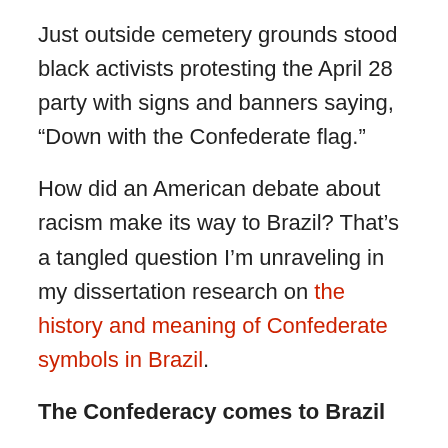Just outside cemetery grounds stood black activists protesting the April 28 party with signs and banners saying, “Down with the Confederate flag.”
How did an American debate about racism make its way to Brazil? That’s a tangled question I’m unraveling in my dissertation research on the history and meaning of Confederate symbols in Brazil.
The Confederacy comes to Brazil
Brazil has a long, strange relationship with the United States Confederacy.
After the Civil War ended in 1865, ending slavery in the United States, some 8,000 to 10,000 Southern soldiers and their families left the ravaged Confederate...